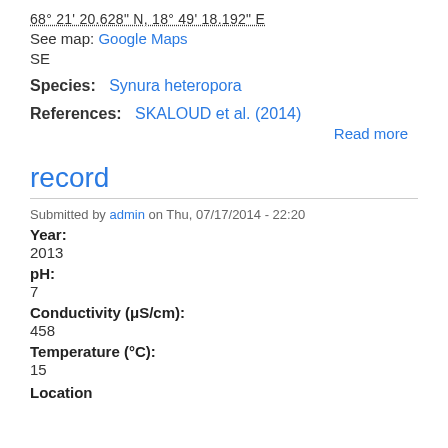68° 21' 20.628" N, 18° 49' 18.192" E
See map: Google Maps
SE
Species:   Synura heteropora
References:   SKALOUD et al. (2014)
Read more
record
Submitted by admin on Thu, 07/17/2014 - 22:20
Year:
2013
pH:
7
Conductivity (μS/cm):
458
Temperature (°C):
15
Location